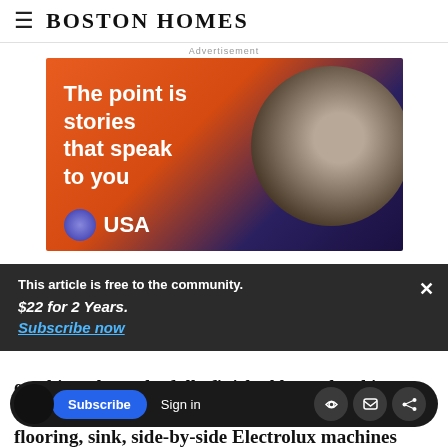Boston Homes
Advertisement
[Figure (photo): USA Today advertisement with orange background showing text 'The point is stories that speak to you' and a person wearing headphones in a circular inset]
This article is free to the community.
$22 for 2 Years.
Subscribe now
erything about the fully finished lower level is
flooring, sink, side-by-side Electrolux machines